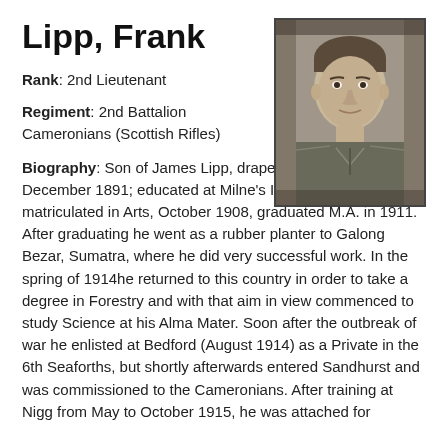Lipp, Frank
Rank: 2nd Lieutenant
Regiment: 2nd Battalion Cameronians (Scottish Rifles)
[Figure (photo): Black and white portrait photograph of Frank Lipp, a young man in military uniform]
Biography: Son of James Lipp, draper ; born Fochabers, 10 December 1891; educated at Milne's Institution, Fochabers ; matriculated in Arts, October 1908, graduated M.A. in 1911. After graduating he went as a rubber planter to Galong Bezar, Sumatra, where he did very successful work. In the spring of 1914he returned to this country in order to take a degree in Forestry and with that aim in view commenced to study Science at his Alma Mater. Soon after the outbreak of war he enlisted at Bedford (August 1914) as a Private in the 6th Seaforths, but shortly afterwards entered Sandhurst and was commissioned to the Cameronians. After training at Nigg from May to October 1915, he was attached for